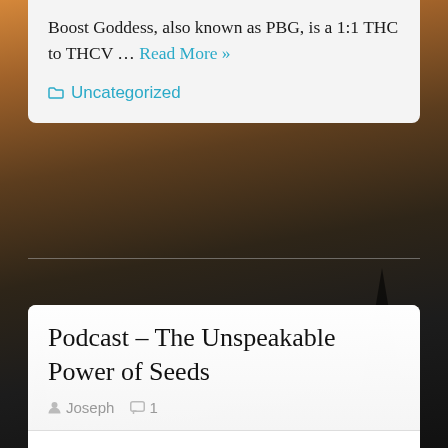Boost Goddess, also known as PBG, is a 1:1 THC to THCV … Read More »
Uncategorized
Podcast – The Unspeakable Power of Seeds
Joseph  1
https://www.labaroma.com/podcasts/joseph-and-katie-jeane-haggard We sat down with Colleen at Lab Aroma to share a bit about our work. This 45 minute interview covers: The importance of the seed, Our farming philosophy, THCV dominant Pink Boost Goddess, Farm Cut, and more. check it …